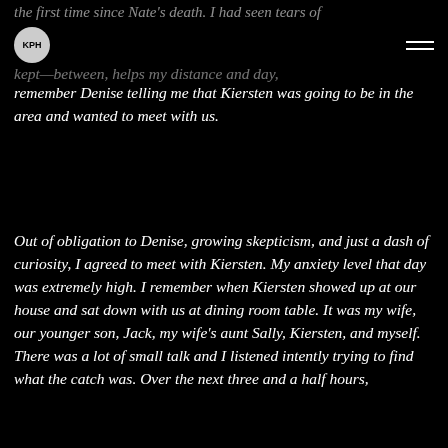the first time since Nate's death. I had seen tears of
kept—between, helps my distance and day, remember Denise telling me that Kiersten was going to be in the area and wanted to meet with us.
Out of obligation to Denise, growing skepticism, and just a dash of curiosity, I agreed to meet with Kiersten. My anxiety level that day was extremely high. I remember when Kiersten showed up at our house and sat down with us at dining room table. It was my wife, our younger son, Jack, my wife's aunt Sally, Kiersten, and myself. There was a lot of small talk and I listened intently trying to find what the catch was. Over the next three and a half hours,